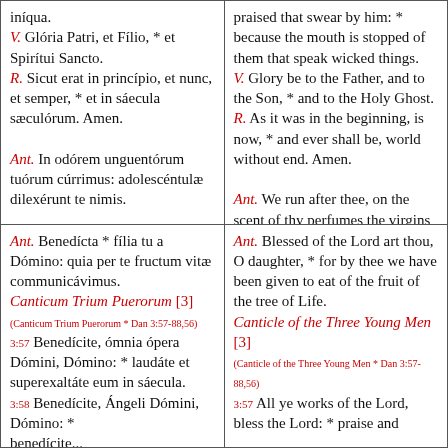iníqua.
V. Glória Patri, et Fílio, * et Spirítui Sancto.
R. Sicut erat in princípio, et nunc, et semper, * et in sáecula sæculórum. Amen.
Ant. In odórem unguentórum tuórum cúrrimus: adolescéntulæ dilexérunt te nimis.
praised that swear by him: * because the mouth is stopped of them that speak wicked things.
V. Glory be to the Father, and to the Son, * and to the Holy Ghost.
R. As it was in the beginning, is now, * and ever shall be, world without end. Amen.
Ant. We run after thee, on the scent of thy perfumes the virgins love thee heartily.
Ant. Benedícta * fília tu a Dómino: quia per te fructum vitæ communicávimus.
Canticum Trium Puerorum [3]
(Canticum Trium Puerorum * Dan 3:57-88,56)
3:57 Benedícite, ómnia ópera Dómini, Dómino: * laudáte et superexaltáte eum in sáecula.
3:58 Benedícite, Ángeli Dómini, Dómino: * benedícite...
Ant. Blessed of the Lord art thou, O daughter, * for by thee we have been given to eat of the fruit of the tree of Life.
Canticle of the Three Young Men [3]
(Canticle of the Three Young Men * Dan 3:57-88,56)
3:57 All ye works of the Lord, bless the Lord: * praise and...